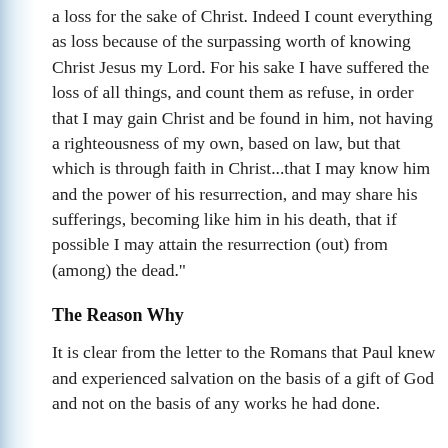a loss for the sake of Christ. Indeed I count everything as loss because of the surpassing worth of knowing Christ Jesus my Lord. For his sake I have suffered the loss of all things, and count them as refuse, in order that I may gain Christ and be found in him, not having a righteousness of my own, based on law, but that which is through faith in Christ...that I may know him and the power of his resurrection, and may share his sufferings, becoming like him in his death, that if possible I may attain the resurrection (out) from (among) the dead."
The Reason Why
It is clear from the letter to the Romans that Paul knew and experienced salvation on the basis of a gift of God and not on the basis of any works he had done.